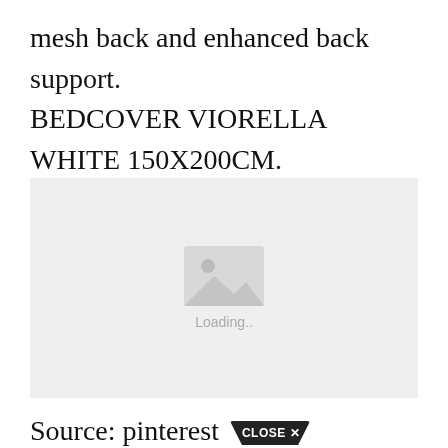mesh back and enhanced back support. BEDCOVER VIORELLA WHITE 150X200CM. There Are 0 Products. Some JYSK chairs cost just over 100.
[Figure (other): Image loading placeholder with a mountain/photo icon and 'Loading..' text on a light grey background]
Source: pinterest CLOSE X